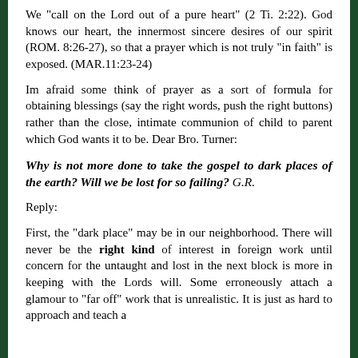We "call on the Lord out of a pure heart" (2 Ti. 2:22). God knows our heart, the innermost sincere desires of our spirit (ROM. 8:26-27), so that a prayer which is not truly "in faith" is exposed. (MAR.11:23-24)
Im afraid some think of prayer as a sort of formula for obtaining blessings (say the right words, push the right buttons) rather than the close, intimate communion of child to parent which God wants it to be. Dear Bro. Turner:
Why is not more done to take the gospel to dark places of the earth? Will we be lost for so failing? G.R.
Reply:
First, the "dark place" may be in our neighborhood. There will never be the right kind of interest in foreign work until concern for the untaught and lost in the next block is more in keeping with the Lords will. Some erroneously attach a glamour to "far off" work that is unrealistic. It is just as hard to approach and teach a